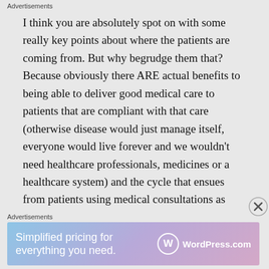I think you are absolutely spot on with some really key points about where the patients are coming from. But why begrudge them that? Because obviously there ARE actual benefits to being able to deliver good medical care to patients that are compliant with that care (otherwise disease would just manage itself, everyone would live forever and we wouldn't need healthcare professionals, medicines or a healthcare system) and the cycle that ensues from patients using medical consultations as counselling sessions greatly ruins our chances of modifying
Advertisements
[Figure (other): WordPress.com advertisement banner with text 'Simplified pricing for everything you need.' and WordPress.com logo]